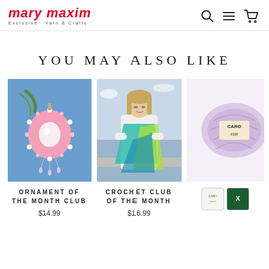mary maxim — Exclusive Yarn & Crafts
YOU MAY ALSO LIKE
[Figure (photo): Decorative pink beaded ornament with pearls and crystals against a blue background — Ornament of the Month Club product image]
ORNAMENT OF THE MONTH CLUB
$14.99
[Figure (photo): Woman wearing a crochet shawl in teal, blue, and lime green colors, standing outdoors near water — Crochet Club of the Month product image]
CROCHET CLUB OF THE MONTH
$16.99
[Figure (photo): Partial view of a lavender/purple yarn skein with Caron branding label, and two color swatches below]